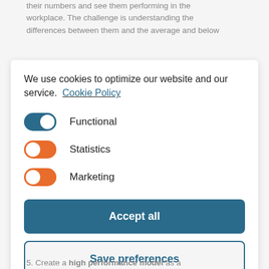their numbers and see them performing in the workplace. The challenge is understanding the differences between them and the average and below
[Figure (screenshot): Cookie consent dialog with toggles for Functional (blue/on), Statistics (orange/on), Marketing (orange/on), and buttons: Accept all, Save preferences]
5. Create a high performance model as a